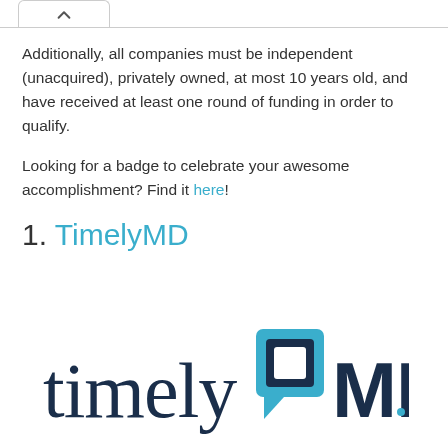Additionally, all companies must be independent (unacquired), privately owned, at most 10 years old, and have received at least one round of funding in order to qualify.
Looking for a badge to celebrate your awesome accomplishment? Find it here!
1. TimelyMD
[Figure (logo): TimelyMD company logo: 'timely' in dark navy serif font followed by a teal speech-bubble square icon and 'MD' in dark navy sans-serif font]